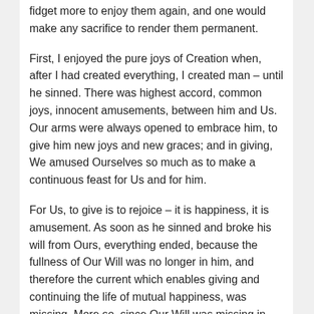fidget more to enjoy them again, and one would make any sacrifice to render them permanent.
First, I enjoyed the pure joys of Creation when, after I had created everything, I created man – until he sinned. There was highest accord, common joys, innocent amusements, between him and Us. Our arms were always opened to embrace him, to give him new joys and new graces; and in giving, We amused Ourselves so much as to make a continuous feast for Us and for him.
For Us, to give is to rejoice – it is happiness, it is amusement. As soon as he sinned and broke his will from Ours, everything ended, because the fullness of Our Will was no longer in him, and therefore the current which enables giving and continuing the life of mutual happiness, was missing. More so, since Our Will was missing in him, and therefore he lacked the capacity and the safeguard to keep Our gifts.
Second, We enjoyed the pure joys of Creation when, after